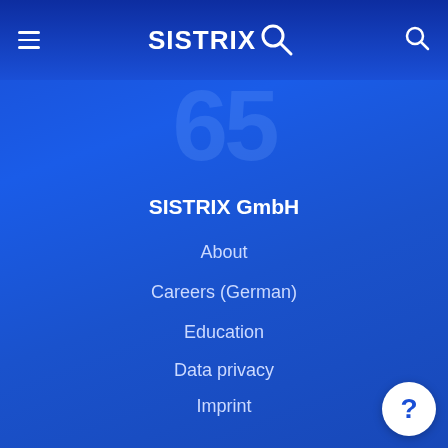SISTRIX
[Figure (logo): SISTRIX logo with magnifying glass icon in white on dark blue navigation bar]
SISTRIX GmbH
About
Careers (German)
Education
Data privacy
Imprint
Software
Pricing